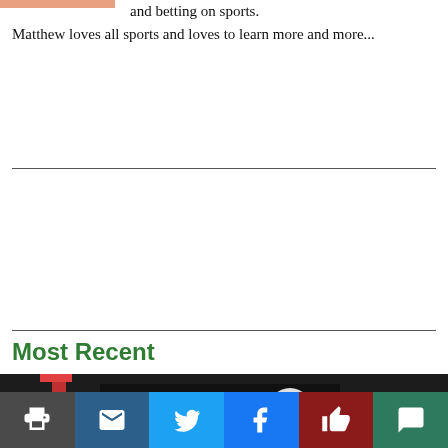and betting on sports. Matthew loves all sports and loves to learn more and more...
Most Recent
[Figure (photo): Two football players in blue uniforms and white helmets on a football field, with a red post and a dark building in the background.]
[print] [email] [twitter] [facebook] [like] [comment]